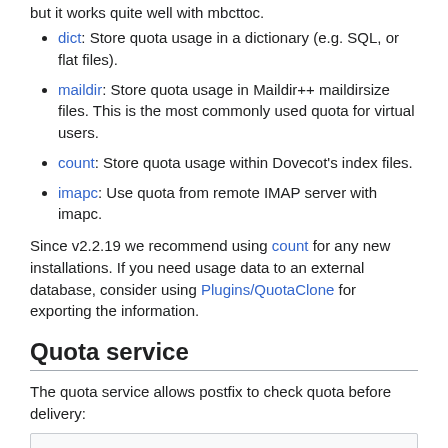dict: Store quota usage in a dictionary (e.g. SQL, or flat files).
maildir: Store quota usage in Maildir++ maildirsize files. This is the most commonly used quota for virtual users.
count: Store quota usage within Dovecot's index files.
imapc: Use quota from remote IMAP server with imapc.
Since v2.2.19 we recommend using count for any new installations. If you need usage data to an external database, consider using Plugins/QuotaClone for exporting the information.
Quota service
The quota service allows postfix to check quota before delivery:
service quota-status {
    executable = quota-status -p postfix
    inet listener {